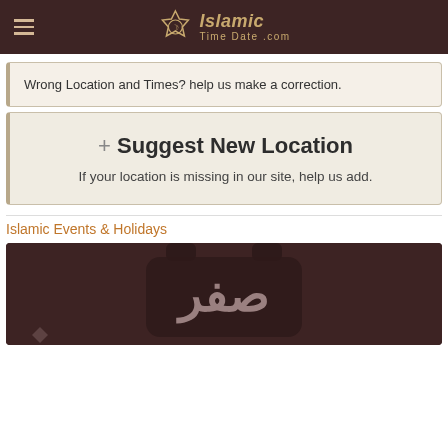IslamicTimeDate.com
Wrong Location and Times? help us make a correction.
+ Suggest New Location
If your location is missing in our site, help us add.
Islamic Events & Holidays
[Figure (photo): Dark brown decorative image with Arabic calligraphy text on a lantern-style background, Islamic themed]